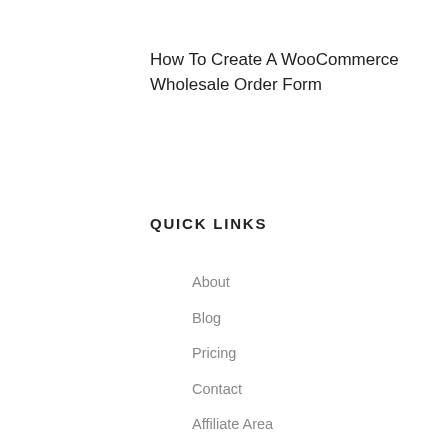How To Create A WooCommerce Wholesale Order Form
QUICK LINKS
About
Blog
Pricing
Contact
Affiliate Area
Privacy Policy
We are Hiring
Brand Assets